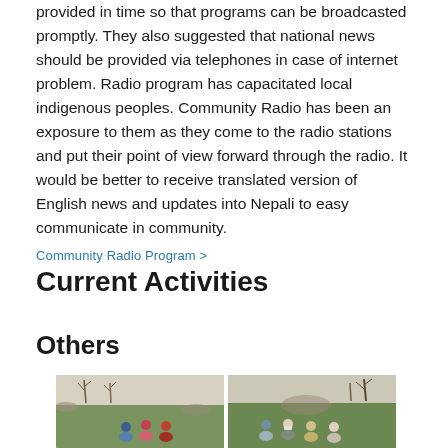provided in time so that programs can be broadcasted promptly. They also suggested that national news should be provided via telephones in case of internet problem. Radio program has capacitated local indigenous peoples. Community Radio has been an exposure to them as they come to the radio stations and put their point of view forward through the radio. It would be better to receive translated version of English news and updates into Nepali to easy communicate in community.
Community Radio Program > Current Activities
Others
[Figure (photo): A group of people sitting outdoors on a hillside with sparse trees and rocky terrain in the background. Some individuals are wearing masks. The image appears to be split into two panels side by side.]